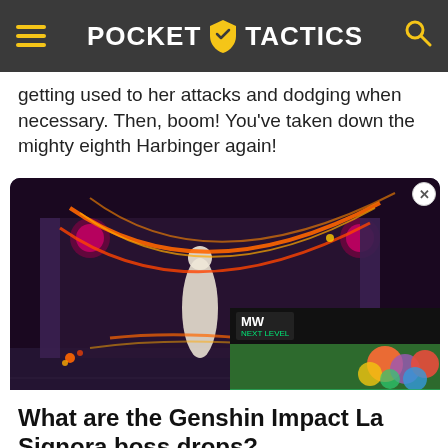Pocket Tactics
getting used to her attacks and dodging when necessary. Then, boom! You've taken down the mighty eighth Harbinger again!
[Figure (screenshot): Game screenshot showing a character with glowing orange/red energy attacks in a stylized arena, with an overlaid video advertisement for 'LEGO Brawls Release Date' from MW Next Level]
What are the Genshin Impact La Signora boss drops?